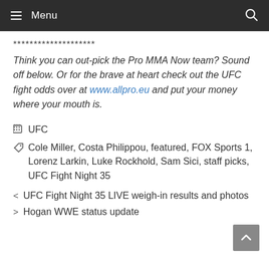Menu
********************
Think you can out-pick the Pro MMA Now team? Sound off below. Or for the brave at heart check out the UFC fight odds over at www.allpro.eu and put your money where your mouth is.
UFC
Cole Miller, Costa Philippou, featured, FOX Sports 1, Lorenz Larkin, Luke Rockhold, Sam Sici, staff picks, UFC Fight Night 35
< UFC Fight Night 35 LIVE weigh-in results and photos
> Hogan WWE status update